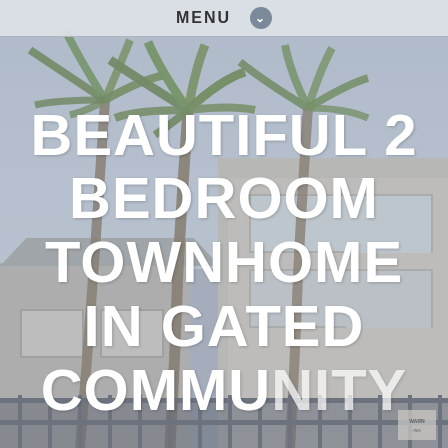MENU
[Figure (photo): Exterior photograph of a gated townhome community with tall palm trees in the foreground and a two-story residential building with balconies visible on the right. Blue-gray sky in background. A metal security fence runs along the bottom.]
BEAUTIFUL 2 BEDROOM TOWNHOME IN GATED COMMUNITY